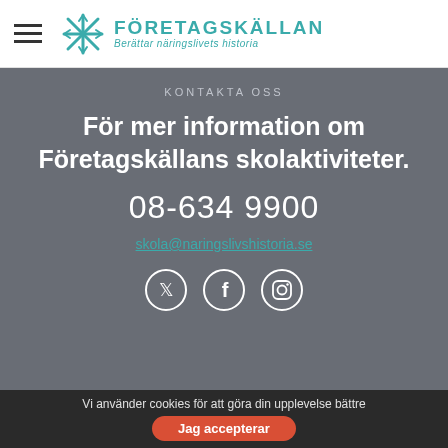FÖRETAGSKÄLLAN — Berättar näringslivets historia
KONTAKTA OSS
För mer information om Företagskällans skolaktiviteter.
08-634 9900
skola@naringslivshistoria.se
[Figure (illustration): Three social media icons in circles: Twitter, Facebook, Instagram]
Vi använder cookies för att göra din upplevelse bättre
Jag accepterar